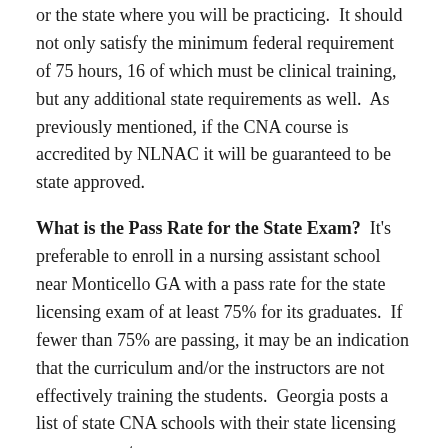or the state where you will be practicing. It should not only satisfy the minimum federal requirement of 75 hours, 16 of which must be clinical training, but any additional state requirements as well. As previously mentioned, if the CNA course is accredited by NLNAC it will be guaranteed to be state approved.
What is the Pass Rate for the State Exam? It's preferable to enroll in a nursing assistant school near Monticello GA with a pass rate for the state licensing exam of at least 75% for its graduates. If fewer than 75% are passing, it may be an indication that the curriculum and/or the instructors are not effectively training the students. Georgia posts a list of state CNA schools with their state licensing exam pass rates.
Is there an Internship Program? Find out if the schools you are considering sponsor internships with Monticello GA healthcare facilities. They are a great way